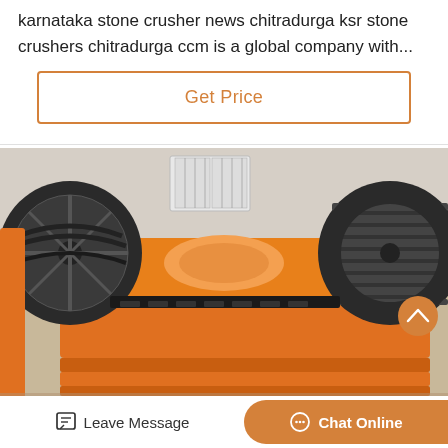karnataka stone crusher news chitradurga ksr stone crushers chitradurga ccm is a global company with...
Get Price
[Figure (photo): An orange industrial jaw crusher machine with large black flywheels/pulleys on each side, photographed in an industrial yard or warehouse setting.]
Leave Message
Chat Online